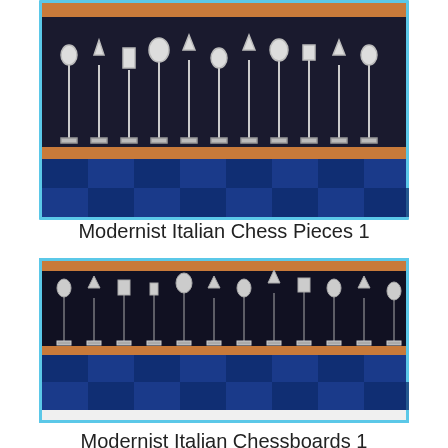[Figure (photo): Modernist Italian chess pieces on a blue checkered board, top portion showing white chess pieces on dark background with blue and wood trim border]
Modernist Italian Chess Pieces 1
[Figure (photo): Modernist Italian chessboard viewed from a lower angle showing white and dark chess pieces in a row with a blue checkered board below, blue and white border]
Modernist Italian Chessboards 1
[Figure (photo): Modernist Italian chess pieces shown with blue-tinted transparent/glowing pieces on a blue checkered board, partially cropped at bottom]